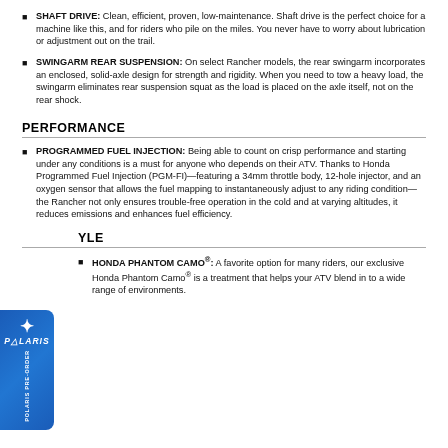SHAFT DRIVE: Clean, efficient, proven, low-maintenance. Shaft drive is the perfect choice for a machine like this, and for riders who pile on the miles. You never have to worry about lubrication or adjustment out on the trail.
SWINGARM REAR SUSPENSION: On select Rancher models, the rear swingarm incorporates an enclosed, solid-axle design for strength and rigidity. When you need to tow a heavy load, the swingarm eliminates rear suspension squat as the load is placed on the axle itself, not on the rear shock.
PERFORMANCE
PROGRAMMED FUEL INJECTION: Being able to count on crisp performance and starting under any conditions is a must for anyone who depends on their ATV. Thanks to Honda Programmed Fuel Injection (PGM-FI)—featuring a 34mm throttle body, 12-hole injector, and an oxygen sensor that allows the fuel mapping to instantaneously adjust to any riding condition—the Rancher not only ensures trouble-free operation in the cold and at varying altitudes, it reduces emissions and enhances fuel efficiency.
STYLE
HONDA PHANTOM CAMO®: A favorite option for many riders, our exclusive Honda Phantom Camo® is a treatment that helps your ATV blend in to a wide range of environments.